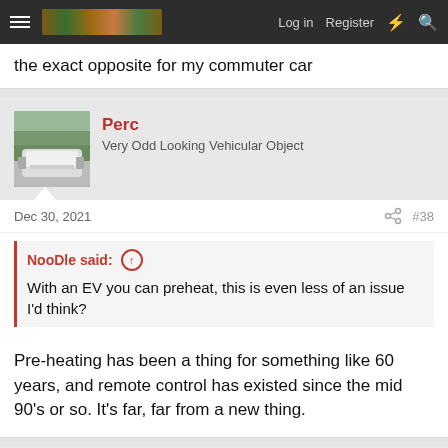Log in  Register
the exact opposite for my commuter car
Perc
Very Odd Looking Vehicular Object
Dec 30, 2021  #38
NooDle said:
With an EV you can preheat, this is even less of an issue I'd think?
Pre-heating has been a thing for something like 60 years, and remote control has existed since the mid 90's or so. It's far, far from a new thing.
rickhamilton620
has a fetish for terrible cars